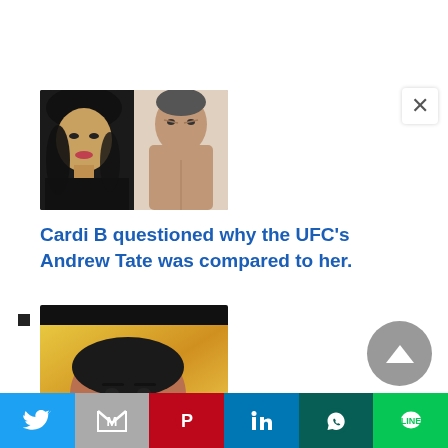[Figure (photo): Side-by-side thumbnail images: left shows a woman in black (Cardi B at an event), right shows a shirtless man (Andrew Tate at a weigh-in)]
Cardi B questioned why the UFC’s Andrew Tate was compared to her.
[Figure (photo): Partial photo of a woman against a yellow background, cropped showing face and upper body]
[Figure (infographic): Social media share bar with Twitter, Gmail, Pinterest, LinkedIn, WhatsApp, and LINE buttons]